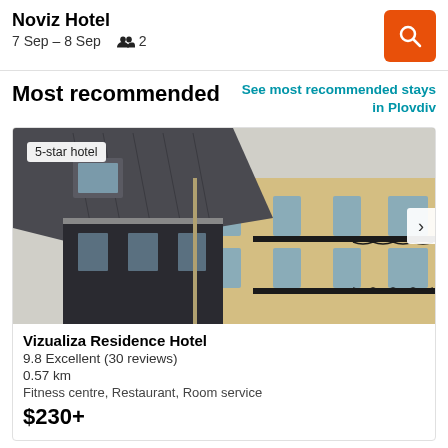Noviz Hotel
7 Sep – 8 Sep   2
Most recommended
See most recommended stays in Plovdiv
[Figure (photo): Exterior facade of a European-style 5-star hotel building with grey mansard roof, ornate black iron balconies, and yellow-cream walls. Badge reads '5-star hotel'.]
Vizualiza Residence Hotel
9.8 Excellent (30 reviews)
0.57 km
Fitness centre, Restaurant, Room service
$230+